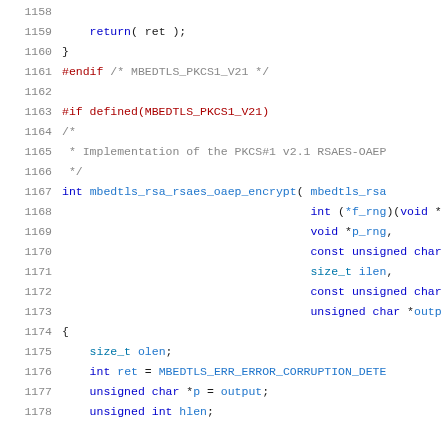Source code listing lines 1158-1178 showing C code for mbedtls RSA OAEP encryption implementation
1158 (blank)
1159     return( ret );
1160 }
1161 #endif /* MBEDTLS_PKCS1_V21 */
1162 (blank)
1163 #if defined(MBEDTLS_PKCS1_V21)
1164 /*
1165  * Implementation of the PKCS#1 v2.1 RSAES-OAEP
1166  */
1167 int mbedtls_rsa_rsaes_oaep_encrypt( mbedtls_rsa
1168                                     int (*f_rng)(void *
1169                                     void *p_rng,
1170                                     const unsigned char
1171                                     size_t ilen,
1172                                     const unsigned char
1173                                     unsigned char *outp
1174 {
1175     size_t olen;
1176     int ret = MBEDTLS_ERR_ERROR_CORRUPTION_DETE
1177     unsigned char *p = output;
1178     unsigned int hlen;